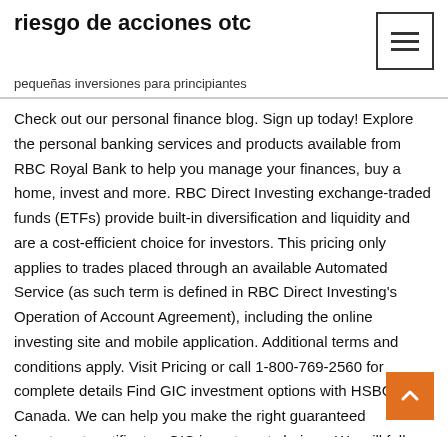riesgo de acciones otc
pequeñas inversiones para principiantes
Check out our personal finance blog. Sign up today! Explore the personal banking services and products available from RBC Royal Bank to help you manage your finances, buy a home, invest and more. RBC Direct Investing exchange-traded funds (ETFs) provide built-in diversification and liquidity and are a cost-efficient choice for investors. This pricing only applies to trades placed through an available Automated Service (as such term is defined in RBC Direct Investing's Operation of Account Agreement), including the online investing site and mobile application. Additional terms and conditions apply. Visit Pricing or call 1-800-769-2560 for complete details Find GIC investment options with HSBC Canada. We can help you make the right guaranteed investment certificate - GIC investment choices. We will fully reimburse you in the unlikely event that you suffer direct financial losses due to unauthorized activity 1 in your accounts through Digital Banking Services 2 provided you met your security responsibilities. Visit www.scotiabank.com for